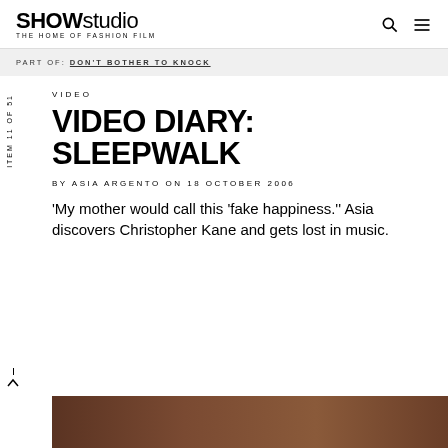SHOWstudio THE HOME OF FASHION FILM
PART OF: DON'T BOTHER TO KNOCK
VIDEO
VIDEO DIARY: SLEEPWALK
BY ASIA ARGENTO ON 18 OCTOBER 2006
'My mother would call this 'fake happiness.'' Asia discovers Christopher Kane and gets lost in music.
ITEM 11 OF 51
[Figure (photo): Dark amber/brown toned photograph at bottom of page]